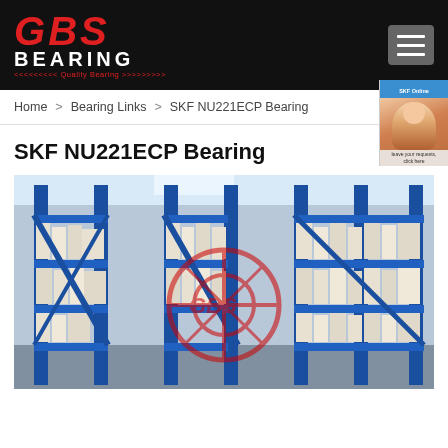GBS BEARING - Quality Bearing
Home > Bearing Links > SKF NU221ECP Bearing
SKF NU221ECP Bearing
[Figure (photo): Warehouse shelving racks stocked with bearing boxes, blue metal shelving units with red watermark logo overlay]